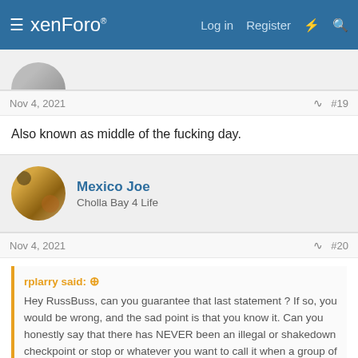xenForo  Log in  Register
Nov 4, 2021  #19
Also known as middle of the fucking day.
Mexico Joe
Cholla Bay 4 Life
Nov 4, 2021  #20
rplarry said:
Hey RussBuss, can you guarantee that last statement ? If so, you would be wrong, and the sad point is that you know it. Can you honestly say that there has NEVER been an illegal or shakedown checkpoint or stop or whatever you want to call it when a group of people pull you over and are unmarked or shady ?? NEVER ??
I have known at least 3 families over the past 25 years who have